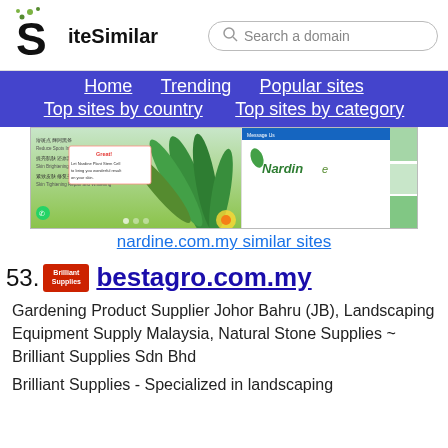SiteSimilar — Search a domain
Home  Trending  Popular sites  Top sites by country  Top sites by category
[Figure (screenshot): Screenshot of nardine.com.my website showing a green-themed plant/skincare product page with aloe vera imagery]
nardine.com.my similar sites
53. bestagro.com.my
Gardening Product Supplier Johor Bahru (JB), Landscaping Equipment Supply Malaysia, Natural Stone Supplies ~ Brilliant Supplies Sdn Bhd
Brilliant Supplies - Specialized in landscaping